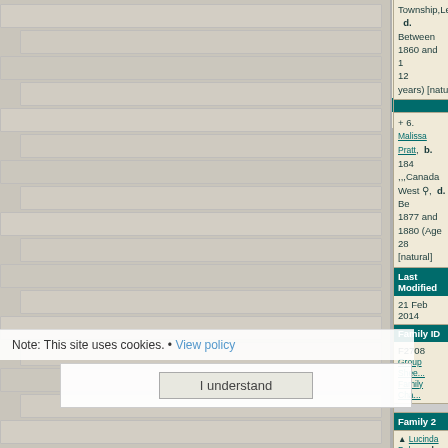Township,Leeds,Ontario  d. Between 1860 and 1... 12 years) [natural] [unk...
+ 6. Malissa Pratt,  b. 184... ,,,Canada West,  d. Be... 1877 and 1880 (Age 28 ... [natural]
| Last Modified | 21 Feb 2014 |
| --- | --- |
| Family ID | F2708 | Group Shee...
Family Cha... |
| --- | --- | --- |
Family 2
Lucinda Palmer,  b. Ca... Mar 1823, ,,,Upper Canad...  d. 16 May 1910, Ashton,Osceola,Michigan,... States (Age 87 years)
| Married | 1851 | Bastard Township,L... [6] |
| --- | --- | --- |
Children
1. Libby Pratt.  b. Betw... and 1860,  d. Between 1... 1900 (Age 9 years) [na...
+ 2. Leffie Miranda Pratt,... Apr 1852,  Leeds,,Cana...
Note: This site uses cookies.
View policy
I understand